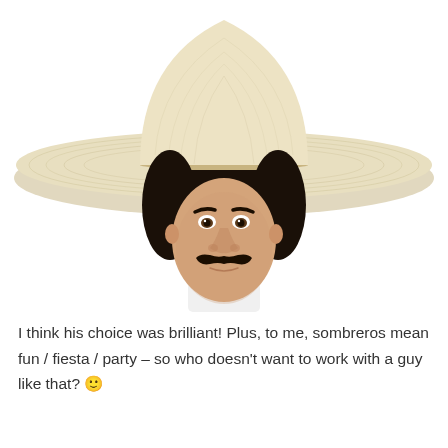[Figure (photo): A man wearing a large wide-brimmed straw sombrero hat and a white shirt, with a prominent black mustache, photographed against a white background.]
I think his choice was brilliant! Plus, to me, sombreros mean fun / fiesta / party – so who doesn't want to work with a guy like that? 🙂